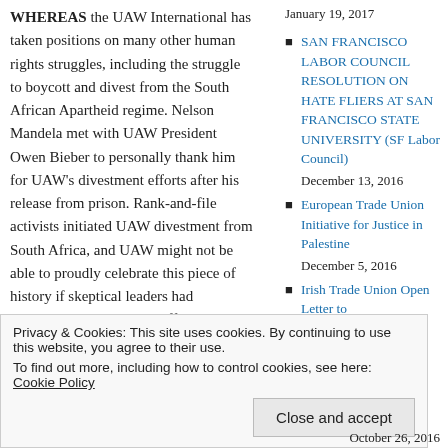WHEREAS the UAW International has taken positions on many other human rights struggles, including the struggle to boycott and divest from the South African Apartheid regime. Nelson Mandela met with UAW President Owen Bieber to personally thank him for UAW's divestment efforts after his release from prison. Rank-and-file activists initiated UAW divestment from South Africa, and UAW might not be able to proudly celebrate this piece of history if skeptical leaders had marginalized those early efforts by rank-and-file members; and
January 19, 2017
SAN FRANCISCO LABOR COUNCIL RESOLUTION ON HATE FLIERS AT SAN FRANCISCO STATE UNIVERSITY (SF Labor Council)
December 13, 2016
European Trade Union Initiative for Justice in Palestine
December 5, 2016
Irish Trade Union Open Letter to
Privacy & Cookies: This site uses cookies. By continuing to use this website, you agree to their use.
To find out more, including how to control cookies, see here: Cookie Policy
Close and accept
October 26, 2016